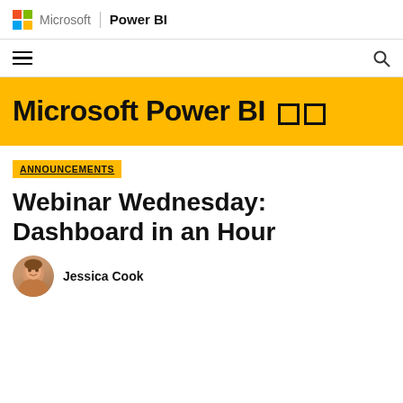Microsoft | Power BI
[Figure (logo): Microsoft logo (four colored squares: red, green, blue, yellow) followed by 'Microsoft' wordmark and 'Power BI' brand name]
[Figure (other): Navigation bar with hamburger menu icon on left and search icon on right]
Microsoft Power BI
ANNOUNCEMENTS
Webinar Wednesday: Dashboard in an Hour
Jessica Cook